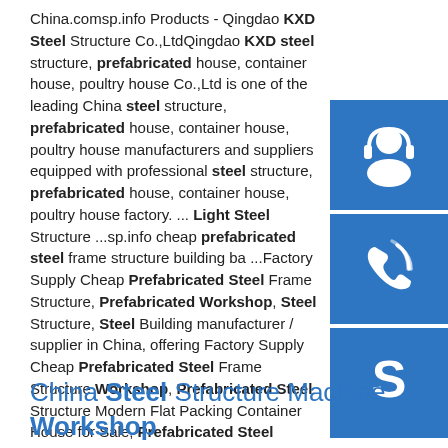China.comsp.info Products - Qingdao KXD Steel Structure Co.,LtdQingdao KXD steel structure, prefabricated house, container house, poultry house Co.,Ltd is one of the leading China steel structure, prefabricated house, container house, poultry house manufacturers and suppliers equipped with professional steel structure, prefabricated house, container house, poultry house factory. ... Light Steel Structure ...sp.info cheap prefabricated steel frame structure building ba ...Factory Supply Cheap Prefabricated Steel Frame Structure, Prefabricated Workshop, Steel Structure, Steel Building manufacturer / supplier in China, offering Factory Supply Cheap Prefabricated Steel Frame Structure Workshop, Prefabricated Steel Structure Modern Flat Packing Container House for Sale, Prefabricated Steel Structure Customized Modular Modern Prefab House for Living and so on.
[Figure (illustration): Three blue square icons stacked vertically on the right side: a customer service headset icon, a phone/call icon, and a Skype icon]
China Steel Structure Machine Workshop